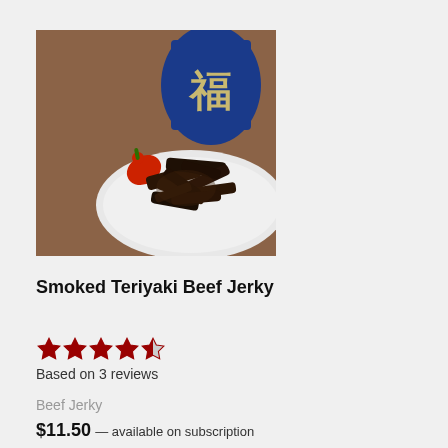[Figure (photo): Photo of Smoked Teriyaki Beef Jerky on a white plate with a blue ceramic container with Chinese character in background and a red pepper garnish]
Smoked Teriyaki Beef Jerky
[Figure (other): 4.5 star rating shown as 4 full red stars and 1 half red star]
Based on 3 reviews
Beef Jerky
$11.50 — available on subscription